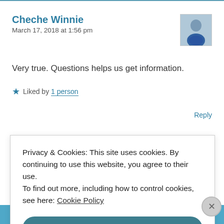Cheche Winnie
March 17, 2018 at 1:56 pm
Very true. Questions helps us get information.
★ Liked by 1 person
Reply
Privacy & Cookies: This site uses cookies. By continuing to use this website, you agree to their use.
To find out more, including how to control cookies, see here: Cookie Policy
Close and accept